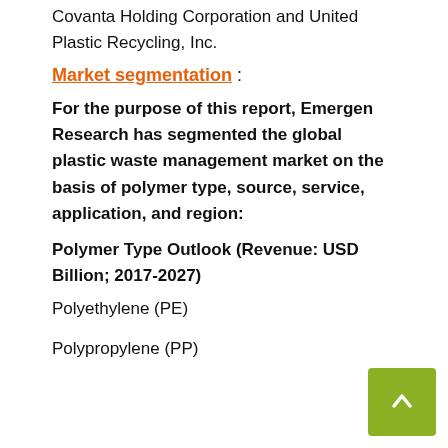Covanta Holding Corporation and United Plastic Recycling, Inc.
Market segmentation :
For the purpose of this report, Emergen Research has segmented the global plastic waste management market on the basis of polymer type, source, service, application, and region:
Polymer Type Outlook (Revenue: USD Billion; 2017-2027)
Polyethylene (PE)
Polypropylene (PP)